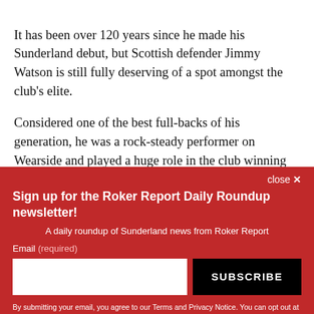It has been over 120 years since he made his Sunderland debut, but Scottish defender Jimmy Watson is still fully deserving of a spot amongst the club's elite.
Considered one of the best full-backs of his generation, he was a rock-steady performer on Wearside and played a huge role in the club winning its fourth league
close ×
Sign up for the Roker Report Daily Roundup newsletter!
A daily roundup of Sunderland news from Roker Report
Email (required)
[email input] SUBSCRIBE
By submitting your email, you agree to our Terms and Privacy Notice. You can opt out at any time. This site is protected by reCAPTCHA and the Google Privacy Policy and Terms of Service apply.